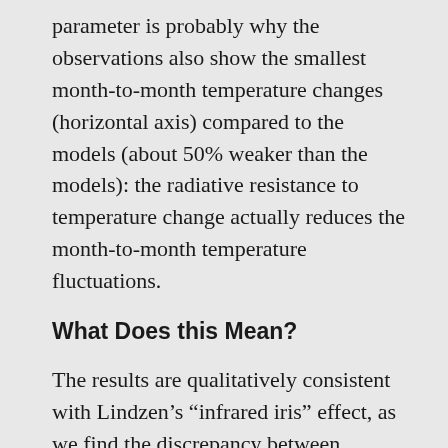parameter is probably why the observations also show the smallest month-to-month temperature changes (horizontal axis) compared to the models (about 50% weaker than the models): the radiative resistance to temperature change actually reduces the month-to-month temperature fluctuations.
What Does this Mean?
The results are qualitatively consistent with Lindzen's “infrared iris” effect, as we find the discrepancy between models and observations is larger in the infrared (LW) component of radiative flux than in the reflected solar (SW) component (SW and LW plots not shown here).
Interestingly, I had to exclude the GISS model results because they show increasing temperatures lead to a smaller decrease with the expected global decrease...